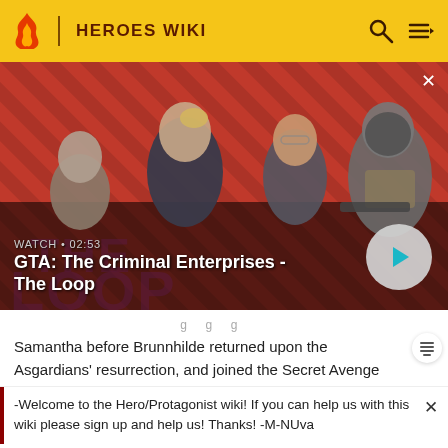HEROES WIKI
[Figure (screenshot): GTA: The Criminal Enterprises - The Loop video thumbnail showing four characters on a red striped background. WATCH • 02:53 label and play button visible.]
Samantha before Brunnhilde returned upon the Asgardians' resurrection, and joined the Secret Avenge
-Welcome to the Hero/Protagonist wiki! If you can help us with this wiki please sign up and help us! Thanks! -M-NUva